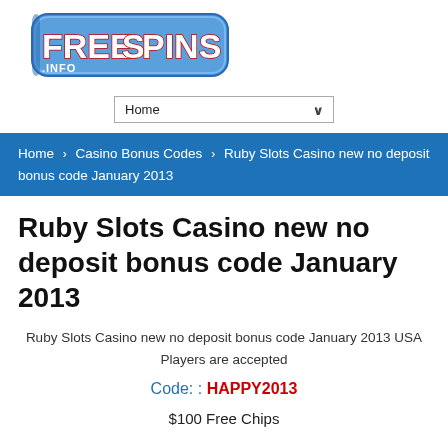[Figure (logo): FreeSpins.info logo — 3D blue bubble lettering with white and red text]
Home (dropdown)
Home › Casino Bonus Codes › Ruby Slots Casino new no deposit bonus code January 2013
Ruby Slots Casino new no deposit bonus code January 2013
Ruby Slots Casino new no deposit bonus code January 2013 USA Players are accepted
Code: : HAPPY2013
$100 Free Chips